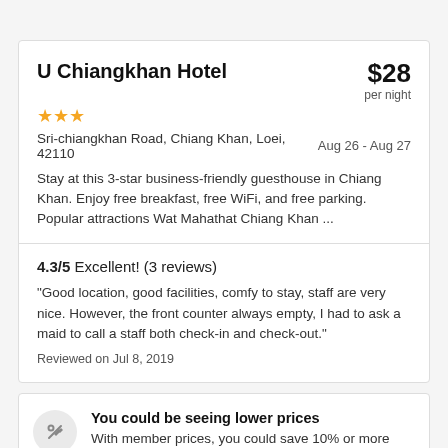U Chiangkhan Hotel
$28 per night
★★★
Sri-chiangkhan Road, Chiang Khan, Loei, 42110   Aug 26 - Aug 27
Stay at this 3-star business-friendly guesthouse in Chiang Khan. Enjoy free breakfast, free WiFi, and free parking. Popular attractions Wat Mahathat Chiang Khan ...
4.3/5 Excellent! (3 reviews)
"Good location, good facilities, comfy to stay, staff are very nice. However, the front counter always empty, I had to ask a maid to call a staff both check-in and check-out."
Reviewed on Jul 8, 2019
You could be seeing lower prices
With member prices, you could save 10% or more right now on thousands of properties.